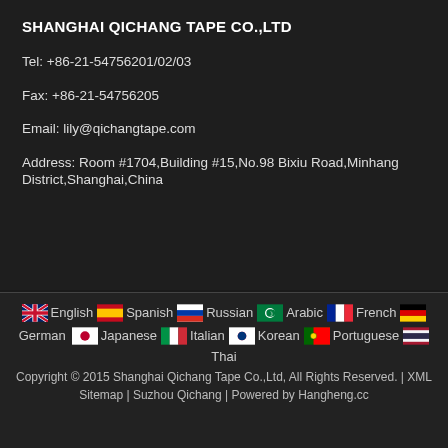SHANGHAI QICHANG TAPE CO.,LTD
Tel: +86-21-54756201/02/03
Fax: +86-21-54756205
Email: lily@qichangtape.com
Address: Room #1704,Building #15,No.98 Bixiu Road,Minhang District,Shanghai,China
English  Spanish  Russian  Arabic  French  German  Japanese  Italian  Korean  Portuguese  Thai
Copyright © 2015 Shanghai Qichang Tape Co.,Ltd, All Rights Reserved. | XML Sitemap | Suzhou Qichang | Powered by Hangheng.cc